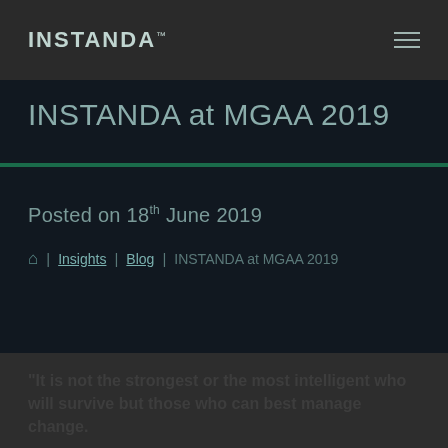INSTANDA
INSTANDA at MGAA 2019
Posted on 18th June 2019
🏠 | Insights | Blog | INSTANDA at MGAA 2019
"It is not the strongest or the most intelligent who will survive but those who can best manage change.